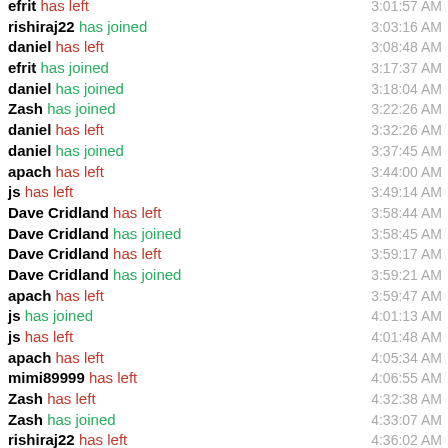efrit has left — 3:01:57 AM
rishiraj22 has joined — 3:03:16 AM
daniel has left — 3:08:48 AM
efrit has joined — 3:17:37 AM
daniel has joined — 3:18:04 AM
Zash has joined — 3:22:26 AM
daniel has left — 3:32:26 AM
daniel has joined — 3:37:45 AM
apach has left — 3:44:00 AM
js has left — 3:49:14 AM
Dave Cridland has left — 3:58:44 AM
Dave Cridland has joined — 3:58:45 AM
Dave Cridland has left — 3:59:17 AM
Dave Cridland has joined — 3:59:21 AM
apach has left — 3:59:47 AM
js has joined — 4:01:13 AM
js has left — 4:01:48 AM
apach has left — 4:05:34 AM
mimi89999 has left — 4:06:55 AM
Zash has left — 4:32:38 AM
Zash has joined — 4:33:07 AM
rishiraj22 has left — 4:36:02 AM
rishiraj22 has left — 4:49:20 AM
daniel has left — 4:50:52 AM
Guus has left — 4:51:01 AM